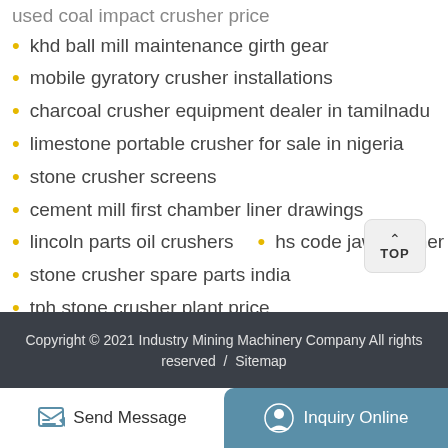khd ball mill maintenance girth gear
mobile gyratory crusher installations
charcoal crusher equipment dealer in tamilnadu
limestone portable crusher for sale in nigeria
stone crusher screens
cement mill first chamber liner drawings
lincoln parts oil crushers
hs code jaw crusher
stone crusher spare parts india
tph stone crusher plant price
Copyright © 2021 Industry Mining Machinery Company All rights reserved  /  Sitemap
Send Message
Inquiry Online